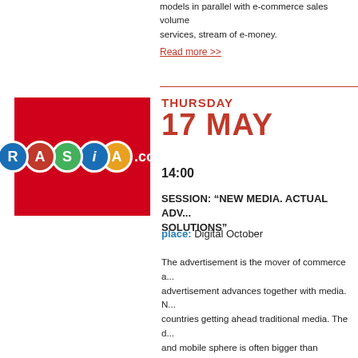models in parallel with e-commerce sales volume services, stream of e-money.
Read more >>
[Figure (logo): RAsia.com logo: colorful circles with letters R, A, S, i, A on red background with .com text]
THURSDAY 17 MAY
14:00
SESSION: "NEW MEDIA. ACTUAL ADV... SOLUTIONS"
place:  Digital October
The advertisement is the mover of commerce a... advertisement advances together with media. N... countries getting ahead traditional media. The d... and mobile sphere is often bigger than tradition... new opportunities and new instruments for man... New media and advertisement synergism gives... of them have already given record results. The...